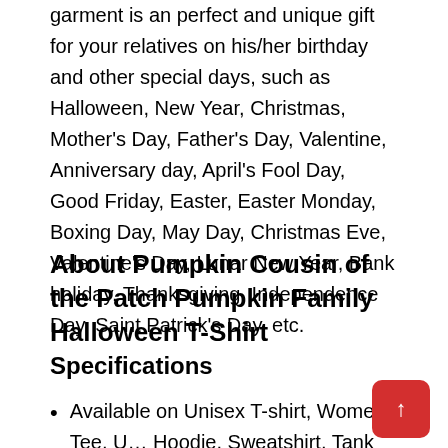garment is an perfect and unique gift for your relatives on his/her birthday and other special days, such as Halloween, New Year, Christmas, Mother's Day, Father's Day, Valentine, Anniversary day, April's Fool Day, Good Friday, Easter, Easter Monday, Boxing Day, May Day, Christmas Eve, Valentine's Day, Lunar New Year, Bank holiday, Thanksgiving, Independence Day, Saint Patrick's Day, etc.
About Pumpkin Cousin of the Patch Pumpkin Family Halloween T-Shirt
Specifications
Available on Unisex T-shirt, Women Tee, U… Hoodie, Sweatshirt, Tank Top, Unisex Long Sleeve,